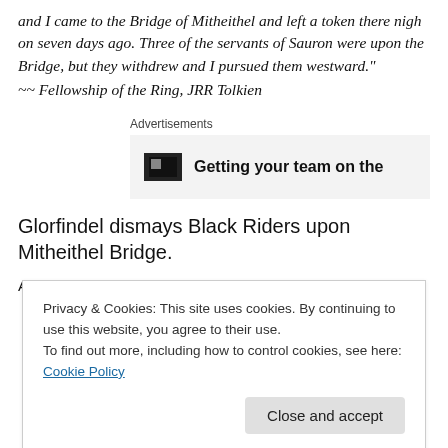and I came to the Bridge of Mitheithel and left a token there nigh on seven days ago. Three of the servants of Sauron were upon the Bridge, but they withdrew and I pursued them westward."
~~ Fellowship of the Ring, JRR Tolkien
[Figure (other): Advertisement banner partially visible showing bold text 'Getting your team on the']
Glorfindel dismays Black Riders upon Mitheithel Bridge.
Acrylic, watercolour, gouache, and coloured pencil on hot
Privacy & Cookies: This site uses cookies. By continuing to use this website, you agree to their use.
To find out more, including how to control cookies, see here: Cookie Policy